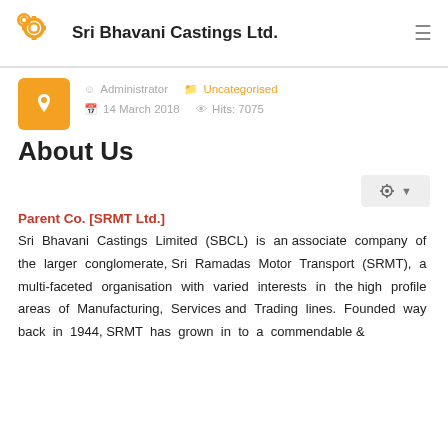Sri Bhavani Castings Ltd.
Administrator  Uncategorised  14 March 2018  Hits: 7075
About Us
Parent Co. [SRMT Ltd.]
Sri Bhavani Castings Limited (SBCL) is an associate company of the larger conglomerate, Sri Ramadas Motor Transport (SRMT), a multi-faceted organisation with varied interests in the high profile areas of Manufacturing, Services and Trading lines. Founded way back in 1944, SRMT has grown in to a commendable &